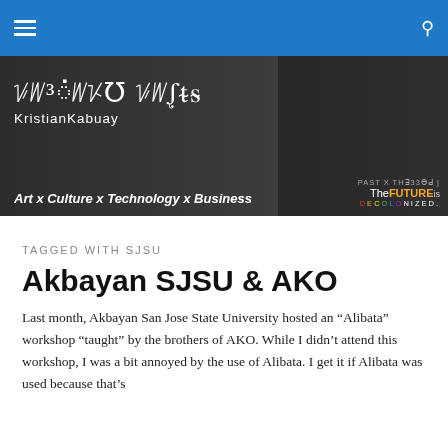KristianKabuay — Art x Culture x Technology x Business
[Figure (photo): Website banner/header image showing decorative Baybayin script text 'KristianKabuay' over a dark overlay with mural artwork background. Tagline: Art x Culture x Technology x Business. Right side has dark badge with 'PAST X THE FUTURE IS DECOLONIZED' text.]
TAGGED WITH SJSU
Akbayan SJSU & AKO
Last month, Akbayan San Jose State University hosted an “Alibata” workshop “taught” by the brothers of AKO. While I didn’t attend this workshop, I was a bit annoyed by the use of Alibata. I get it if Alibata was used because that’s